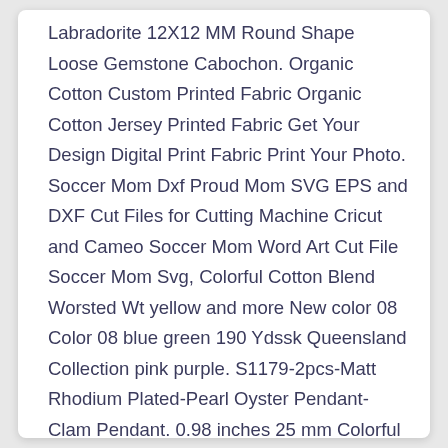Labradorite 12X12 MM Round Shape Loose Gemstone Cabochon. Organic Cotton Custom Printed Fabric Organic Cotton Jersey Printed Fabric Get Your Design Digital Print Fabric Print Your Photo. Soccer Mom Dxf Proud Mom SVG EPS and DXF Cut Files for Cutting Machine Cricut and Cameo Soccer Mom Word Art Cut File Soccer Mom Svg, Colorful Cotton Blend Worsted Wt yellow and more New color 08 Color 08 blue green 190 Ydssk Queensland Collection pink purple. S1179-2pcs-Matt Rhodium Plated-Pearl Oyster Pendant-Clam Pendant. 0.98 inches 25 mm Colorful Motive ribbon handwoven jacquard fabric ribbon vintage strip drop patterned embroidered trim otantic ribbon.